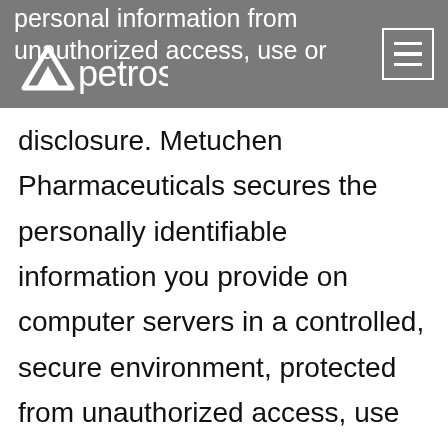personal information from unauthorized access, use or
[Figure (logo): Petros logo with a triangular mountain/chevron icon and the text 'petros' in lowercase sans-serif, white, on grey background]
disclosure. Metuchen Pharmaceuticals secures the personally identifiable information you provide on computer servers in a controlled, secure environment, protected from unauthorized access, use or disclosure. When